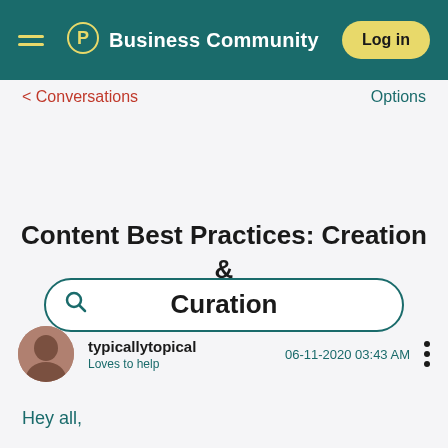Pinterest Business Community - Log in
< Conversations
Options
[Figure (screenshot): Search bar with teal border and search icon]
Content Best Practices: Creation & Curation
typicallytopical
Loves to help
06-11-2020 03:43 AM
Hey all,